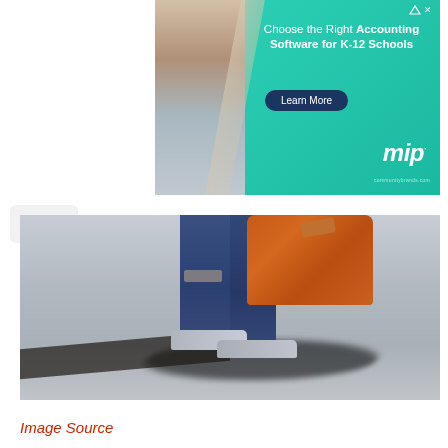[Figure (photo): Advertisement banner: 'Choose the Right Accounting Software for K-12 Schools' with Learn More button and mip logo, teal/green background with photo of teacher and student]
[Figure (photo): Photo of person's legs in ripped blue jeans carrying an orange/brown bag, wearing gray slip-on shoes, walking on asphalt pavement with shadow visible]
Image Source